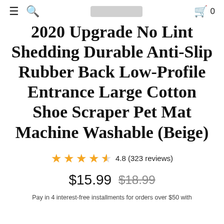≡ 🔍 [search bar] 🛒 0
2020 Upgrade No Lint Shedding Durable Anti-Slip Rubber Back Low-Profile Entrance Large Cotton Shoe Scraper Pet Mat Machine Washable (Beige)
4.8 (323 reviews)
$15.99  $18.99
Pay in 4 interest-free installments for orders over $50 with